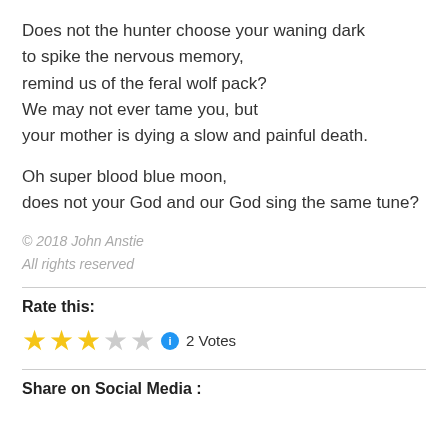Does not the hunter choose your waning dark
to spike the nervous memory,
remind us of the feral wolf pack?
We may not ever tame you, but
your mother is dying a slow and painful death.
Oh super blood blue moon,
does not your God and our God sing the same tune?
© 2018 John Anstie
All rights reserved
Rate this:
★★★☆☆ ⓘ 2 Votes
Share on Social Media :